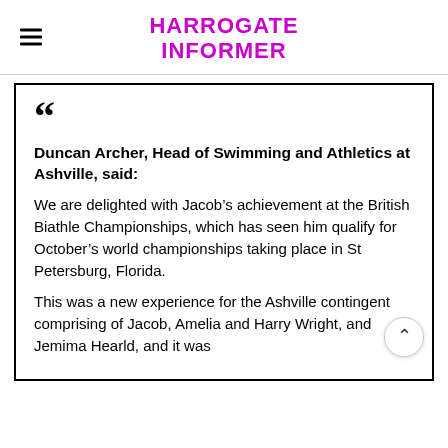HARROGATE INFORMER
Duncan Archer, Head of Swimming and Athletics at Ashville, said:

We are delighted with Jacob's achievement at the British Biathle Championships, which has seen him qualify for October's world championships taking place in St Petersburg, Florida.

This was a new experience for the Ashville contingent comprising of Jacob, Amelia and Harry Wright, and Jemima Hearld, and it was